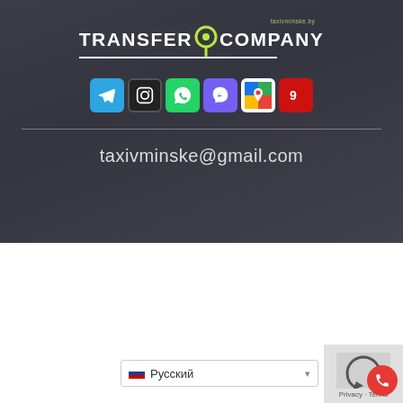[Figure (logo): Transfer Company logo with map pin icon and text 'taxivminske.by'. White bold text TRANSFER and COMPANY flanking a green V/pin icon on dark background.]
[Figure (infographic): Row of social media icon buttons: Telegram (blue), Instagram (black), WhatsApp (green), Viber (purple), Google Maps, 2GIS (red)]
taxivminske@gmail.com
[Figure (infographic): Language selector dropdown showing Russian flag and text Русский with dropdown arrow]
[Figure (infographic): Privacy/reCAPTCHA box in bottom-right corner with phone call button]